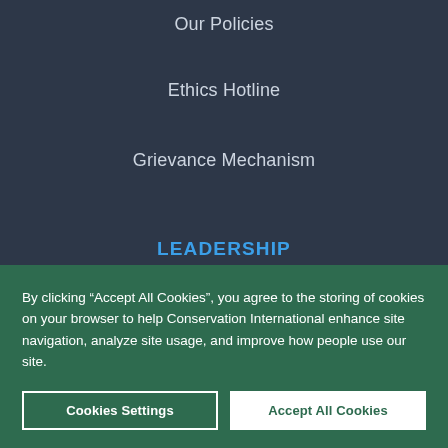Our Policies
Ethics Hotline
Grievance Mechanism
LEADERSHIP
Board of Directors
Senior Staff
Leadership Council
Fellows
By clicking “Accept All Cookies”, you agree to the storing of cookies on your browser to help Conservation International enhance site navigation, analyze site usage, and improve how people use our site.
Cookies Settings
Accept All Cookies